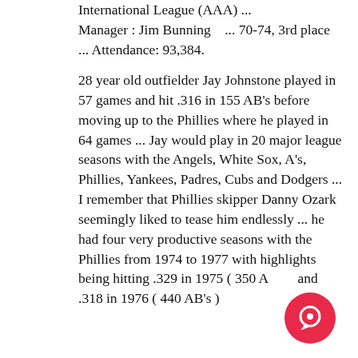International League (AAA) ... Manager : Jim Bunning   ... 70-74, 3rd place ... Attendance: 93,384.
28 year old outfielder Jay Johnstone played in 57 games and hit .316 in 155 AB's before moving up to the Phillies where he played in 64 games ... Jay would play in 20 major league seasons with the Angels, White Sox, A's, Phillies, Yankees, Padres, Cubs and Dodgers ... I remember that Phillies skipper Danny Ozark seemingly liked to tease him endlessly ... he had four very productive seasons with the Phillies from 1974 to 1977 with highlights being hitting .329 in 1975 ( 350 AB's ) and .318 in 1976 ( 440 AB's )
[Figure (other): Red circular chat/message button overlay in the bottom-right corner of the page]